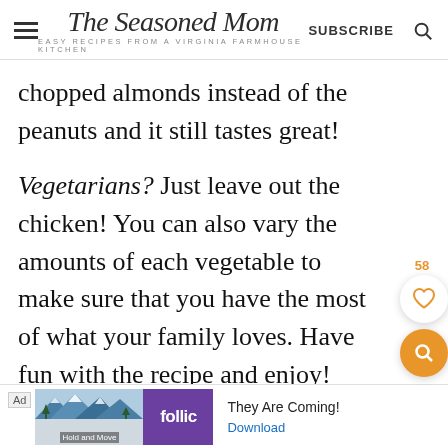The Seasoned Mom — EASY RECIPES FROM A VIRGINIA FARMHOUSE KITCHEN — SUBSCRIBE
chopped almonds instead of the peanuts and it still tastes great!
Vegetarians? Just leave out the chicken! You can also vary the amounts of each vegetable to make sure that you have the most of what your family loves. Have fun with the recipe and enjoy!
[Figure (other): Ad banner at the bottom with a winter snowy mountain scene image, Follic purple logo, text 'They Are Coming!' and a 'Download' link]
Ad · They Are Coming! · Download